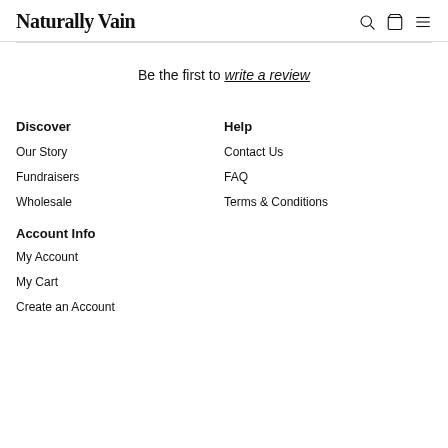Naturally Vain
Be the first to write a review
Discover
Help
Our Story
Contact Us
Fundraisers
FAQ
Wholesale
Terms & Conditions
Account Info
My Account
My Cart
Create an Account